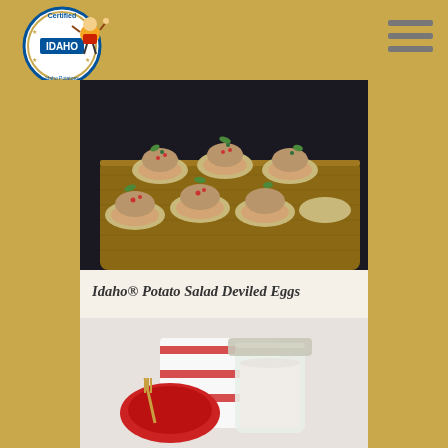[Figure (logo): Certified Idaho Potatoes circular logo with cartoon potato mascot character giving thumbs up]
[Figure (photo): Stuffed potato halves arranged on a wooden cutting board, topped with a salad mixture, capers, and herbs, photographed from above on a dark background]
Idaho® Potato Salad Deviled Eggs
[Figure (photo): A glass jar with a cream-colored dressing or dip, with a red plate and gold fork and red-striped cloth napkin in the background]